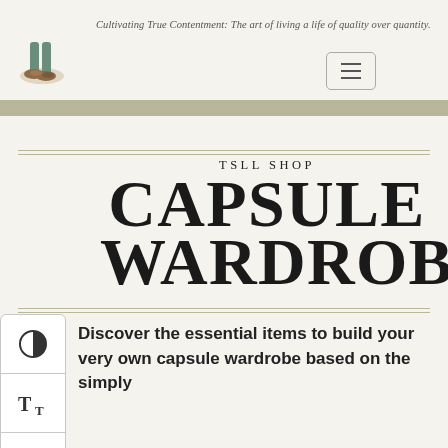Cultivating True Contentment: The art of living a life of quality over quantity.
TSLL SHOP CAPSULE WARDROBE
Discover the essential items to build your very own capsule wardrobe based on the simply